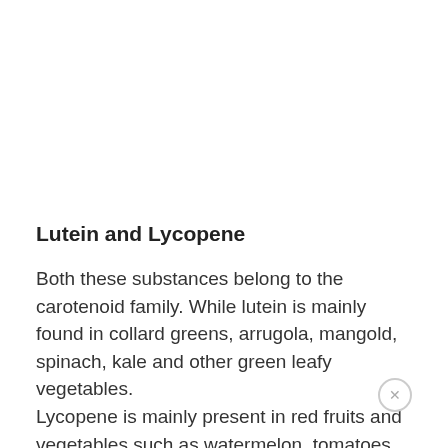Lutein and Lycopene
Both these substances belong to the carotenoid family. While lutein is mainly found in collard greens, arrugola, mangold, spinach, kale and other green leafy vegetables. Lycopene is mainly present in red fruits and vegetables such as watermelon, tomatoes, blood oranges, guava, apricots and pink grapefruits.